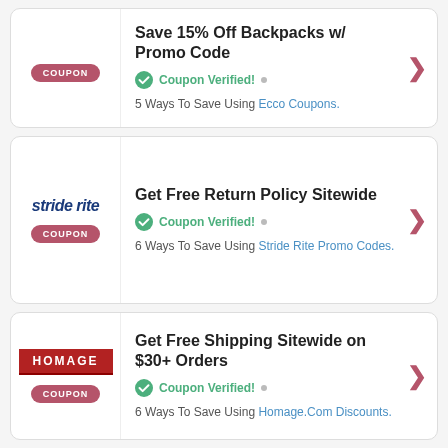Save 15% Off Backpacks w/ Promo Code — Coupon Verified! — 5 Ways To Save Using Ecco Coupons.
Get Free Return Policy Sitewide — Coupon Verified! — 6 Ways To Save Using Stride Rite Promo Codes.
Get Free Shipping Sitewide on $30+ Orders — Coupon Verified! — 6 Ways To Save Using Homage.Com Discounts.